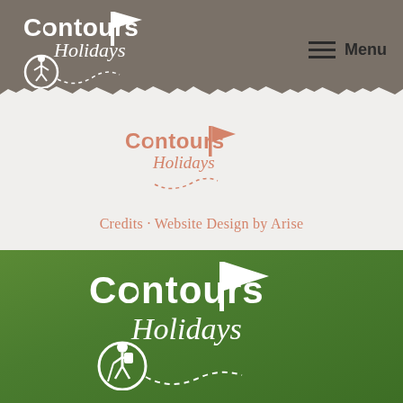[Figure (logo): Contours Holidays logo in white on grey header bar, with runner icon in circle and flag marker icon]
[Figure (logo): Contours Holidays logo in salmon/coral color on white torn-paper middle section]
Credits · Website Design by Arise
[Figure (logo): Contours Holidays logo in white on green background section, with hiker icon in circle and flag marker icon]